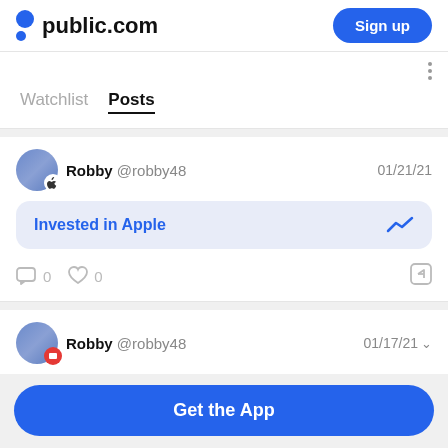public.com  Sign up
Watchlist  Posts
Robby @robby48  01/21/21
Invested in Apple
0  0
Robby @robby48  01/17/21
Get the App